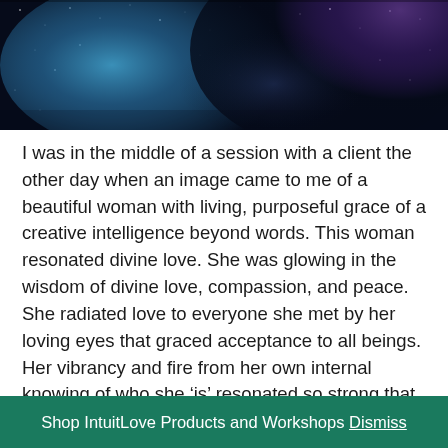[Figure (photo): Space/galaxy nebula photo with stars, blue and purple cosmic clouds on dark background]
I was in the middle of a session with a client the other day when an image came to me of a beautiful woman with living, purposeful grace of a creative intelligence beyond words. This woman resonated divine love. She was glowing in the wisdom of divine love, compassion, and peace. She radiated love to everyone she met by her loving eyes that graced acceptance to all beings. Her vibrancy and fire from her own internal knowing of who she ‘is’ resonated so strong that she could walk into the room and shift the energy to shear love through her presence. She was divinity. She was a strong peaceful power knowing exactly what she was
Shop IntuitLove Products and Workshops Dismiss